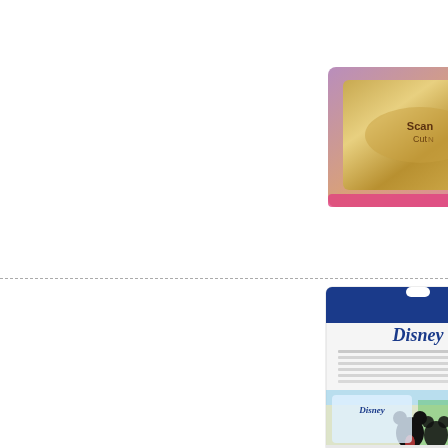[Figure (photo): ScanNCut foil/metallic card product package, partially visible at top]
1
[Figure (photo): Brother Disney Mickey and Minnie Mouse embroidery design collection card package]
CADSNP2
[Figure (photo): Brother Disney Cinderella embroidery design collection card package]
CADSNP0
[Figure (photo): Brother Disney embroidery design collection card package, partially visible at bottom]